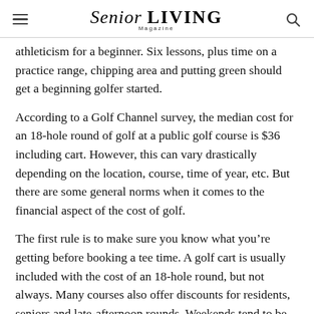Senior LIVING
athleticism for a beginner. Six lessons, plus time on a practice range, chipping area and putting green should get a beginning golfer started.
According to a Golf Channel survey, the median cost for an 18-hole round of golf at a public golf course is $36 including cart. However, this can vary drastically depending on the location, course, time of year, etc. But there are some general norms when it comes to the financial aspect of the cost of golf.
The first rule is to make sure you know what you’re getting before booking a tee time. A golf cart is usually included with the cost of an 18-hole round, but not always. Many courses also offer discounts for residents, seniors and late-afternoon rounds. Weekends tend to be more expensive.
Private clubs are costlier with annual membership dues and additional fees and range anywhere from moderately priced to six